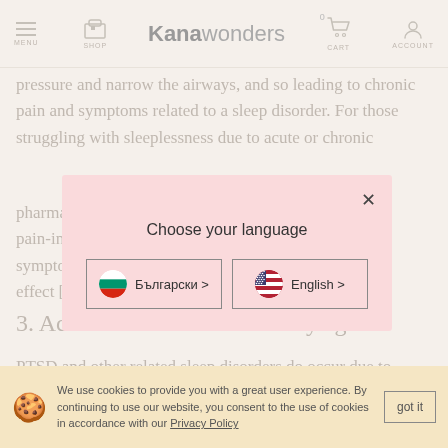MENU  SHOP  Kanawonders  0  CART  ACCOUNT
pressure and narrow the airways, and so leading to chronic pain and symptoms related to a sleep disorder. For those struggling with sleeplessness due to acute or chronic [...]  pharma[...]  ding pain-in[...]  on the sympto[...]  ative effect [...]
[Figure (screenshot): Language selection popup dialog with pink background, title 'Choose your language', close button (×), and two language buttons: 'Български >' with Bulgarian flag and 'English >' with US flag]
3. Acts as an anti-inflammatory agent
PTSD and other related sleep disorders do occur due to emotional trauma or fear which is being triggered in the
We use cookies to provide you with a great user experience. By continuing to use our website, you consent to the use of cookies in accordance with our Privacy Policy   got it